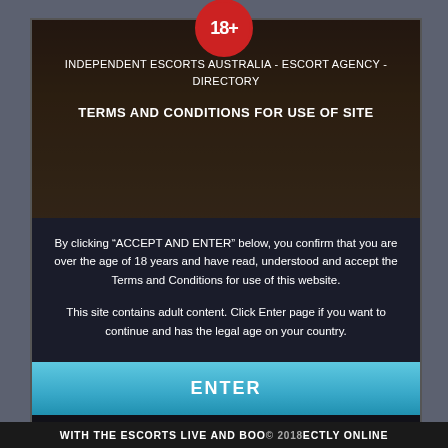INDEPENDENT ESCORTS AUSTRALIA - ESCORT AGENCY - DIRECTORY
TERMS AND CONDITIONS FOR USE OF SITE
By clicking “ACCEPT AND ENTER” below, you confirm that you are over the age of 18 years and have read, understood and accept the Terms and Conditions for use of this website.
This site contains adult content. Click Enter page if you want to continue and has the legal age on your country.
ENTER
Sandi / 47   Escort Gold Coast
REFUSE
WITH THE ESCORTS LIVE AND BOOK DIRECTLY ONLINE © 2018